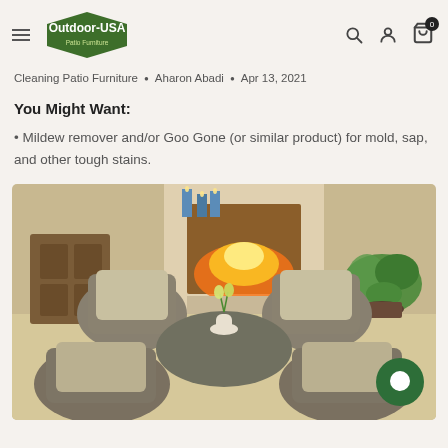Outdoor-USA Patio Furniture — navigation header
Cleaning Patio Furniture • Aharon Abadi • Apr 13, 2021
You Might Want:
Mildew remover and/or Goo Gone (or similar product) for mold, sap, and other tough stains.
[Figure (photo): Wicker patio furniture set with cushioned chairs arranged around a round coffee table with a white vase of flowers, in front of an outdoor fireplace with blue candles on the mantle and a potted plant.]